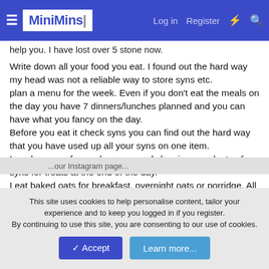MiniMins | Log in | Register
help you. I have lost over 5 stone now.
Write down all your food you eat. I found out the hard way my head was not a reliable way to store syns etc.
plan a menu for the week. Even if you don't eat the meals on the day you have 7 dinners/lunches planned and you can have what you fancy on the day.
Before you eat it check syns you can find out the hard way that you have used up all your syns on one item.
I made as syn free or low syn meals leaving me plenty of syns for treats at the end of the day.
I eat baked oats for breakfast, overnight oats or porridge. All are filling especially if made with zero fat greek yogurt. I find you need protein to keep me full. So zero fat greek yoghurt has 10 grams per 100g and it is free on sw.
This site uses cookies to help personalise content, tailor your experience and to keep you logged in if you register.
By continuing to use this site, you are consenting to our use of cookies.